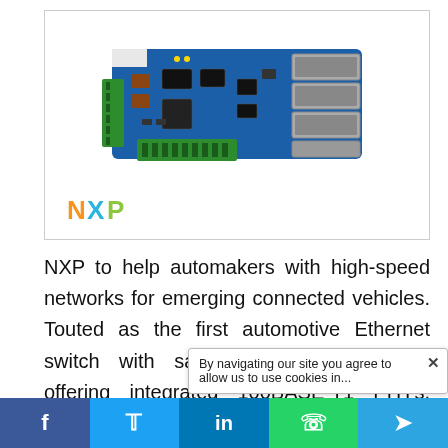[Figure (photo): NXP automotive Ethernet switch board — a blue PCB with green terminal connectors and multiple SFP port cages, shown at an angle. NXP logo visible in bottom-left of the image box.]
NXP to help automakers with high-speed networks for emerging connected vehicles. Touted as the first automotive Ethernet switch with safety capabilities built-in, offering integrated 100BASE-T1 PHYs, hardware-assisted security as well as m
By navigating our site you agree to allow us to use cookies in...